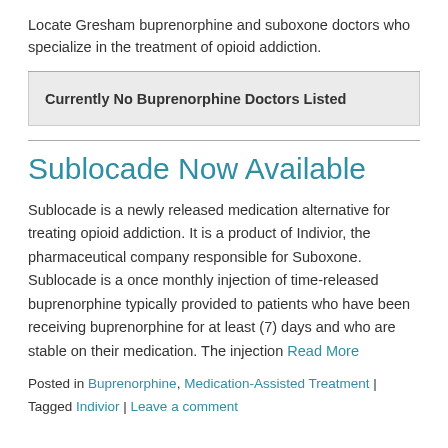Locate Gresham buprenorphine and suboxone doctors who specialize in the treatment of opioid addiction.
| Currently No Buprenorphine Doctors Listed |
Sublocade Now Available
Sublocade is a newly released medication alternative for treating opioid addiction. It is a product of Indivior, the pharmaceutical company responsible for Suboxone. Sublocade is a once monthly injection of time-released buprenorphine typically provided to patients who have been receiving buprenorphine for at least (7) days and who are stable on their medication. The injection Read More
Posted in Buprenorphine, Medication-Assisted Treatment | Tagged Indivior | Leave a comment